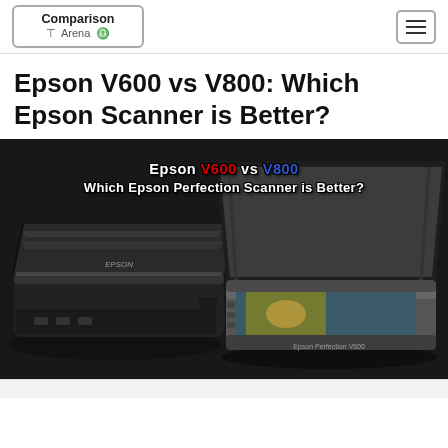Comparison Arena
Epson V600 vs V800: Which Epson Scanner is Better?
[Figure (photo): Two Epson flatbed scanners side by side on dark background. Left: Epson V600 (black, closed lid). Right: Epson V800 (silver/dark, lid open). Overlay text reads: Epson V600 vs V800 / Which Epson Perfection Scanner is Better?]